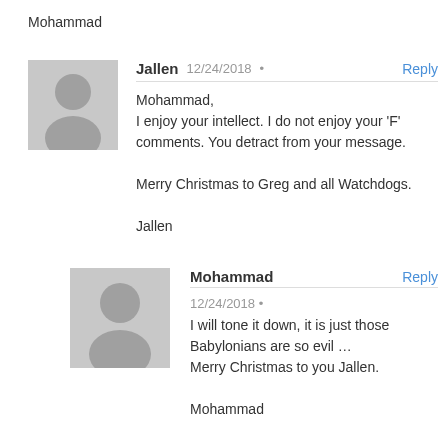Mohammad
Jallen
12/24/2018 • Reply
Mohammad,
I enjoy your intellect. I do not enjoy your 'F' comments. You detract from your message.

Merry Christmas to Greg and all Watchdogs.

Jallen
Mohammad
Reply
12/24/2018 •
I will tone it down, it is just those Babylonians are so evil …
Merry Christmas to you Jallen.

Mohammad